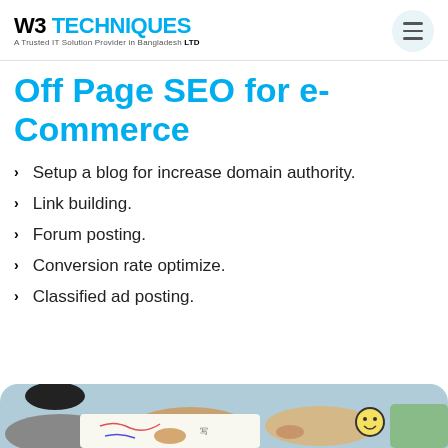W3 TECHNIQUES A Trusted IT Solution Provider in Bangladesh LTD
Off Page SEO for e-Commerce
Setup a blog for increase domain authority.
Link building.
Forum posting.
Conversion rate optimize.
Classified ad posting.
[Figure (photo): Children drawing and writing on paper, viewed from above, showing hands and colorful drawings including a smiley face.]